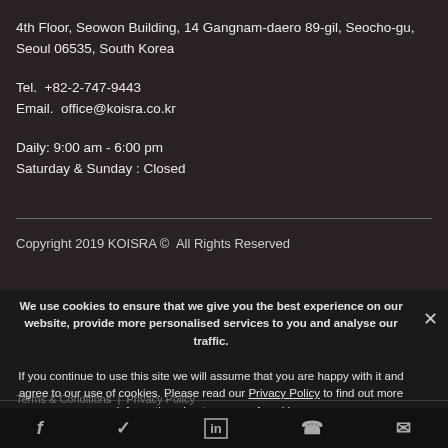4th Floor, Seowon Building, 14 Gangnam-daero 89-gil, Seocho-gu, Seoul 06535, South Korea
Tel. +82-2-747-9443
Email. office@koisra.co.kr
Daily: 9:00 am - 6:00 pm
Saturday & Sunday : Closed
Copyright 2019 KOISRA © All Rights Reserved
We use cookies to ensure that we give you the best experience on our website, provide more personalised services to you and analyse our traffic.
If you continue to use this site we will assume that you are happy with it and agree to our use of cookies. Please read our Privacy Policy to find out more information about our use of cookies.
Terms & Conditions | Privacy Policy
OK